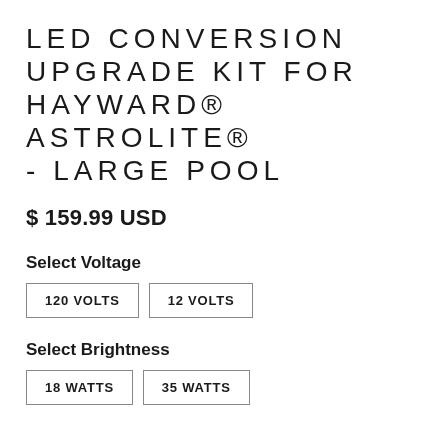LED CONVERSION UPGRADE KIT FOR HAYWARD® ASTROLITE® - LARGE POOL
$ 159.99 USD
Select Voltage
120 VOLTS
12 VOLTS
Select Brightness
18 WATTS
35 WATTS